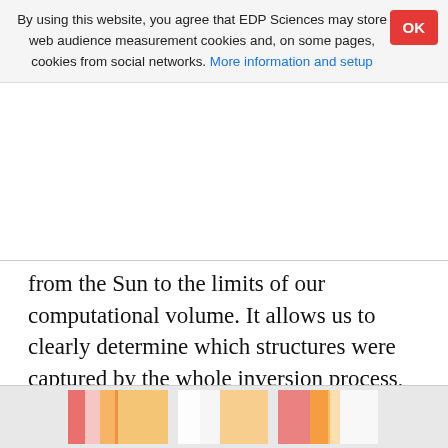By using this website, you agree that EDP Sciences may store web audience measurement cookies and, on some pages, cookies from social networks. More information and setup
from the Sun to the limits of our computational volume. It allows us to clearly determine which structures were captured by the whole inversion process, how they were smoothed, and which were smoothed out. All major structures that appear in the first two maps are retrieved, but the level of detail is inferior, as expected, and a few very small filamentary structures are no longer visible in this 2D representation. However, they have some effect on the 3D distribution, which is visible in images of the extinction density in selected planes, for example.
[Figure (photo): Partial view of a color image strip at the bottom of the page showing what appears to be a scientific map or visualization with red, yellow, and white color regions.]